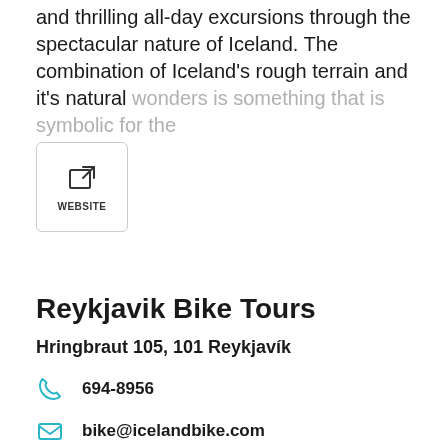and thrilling all-day excursions through the spectacular nature of Iceland. The combination of Iceland's rough terrain and it's natural wonders is something that is symbolic for the excursions.
[Figure (other): Website link button with external link icon and label 'WEBSITE']
Reykjavik Bike Tours
Hringbraut 105, 101 Reykjavík
694-8956
bike@icelandbike.com